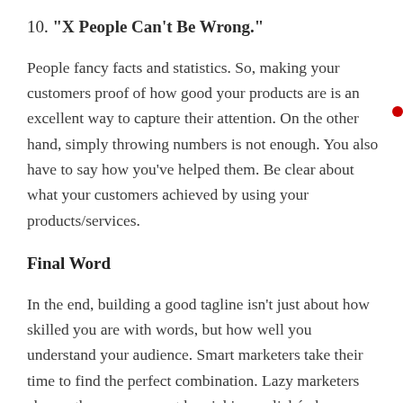10. “X People Can’t Be Wrong.”
People fancy facts and statistics. So, making your customers proof of how good your products are is an excellent way to capture their attention. On the other hand, simply throwing numbers is not enough. You also have to say how you’ve helped them. Be clear about what your customers achieved by using your products/services.
Final Word
In the end, building a good tagline isn’t just about how skilled you are with words, but how well you understand your audience. Smart marketers take their time to find the perfect combination. Lazy marketers choose the easy way out by picking a cliché phrase. Which one do you think will be more